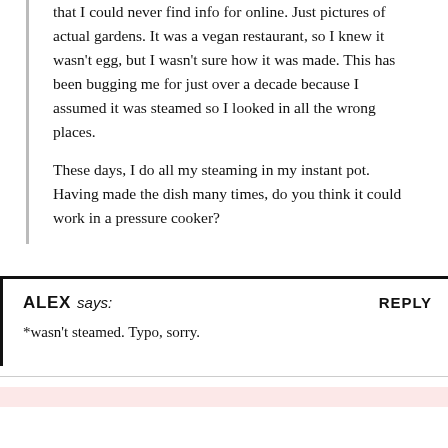that I could never find info for online. Just pictures of actual gardens. It was a vegan restaurant, so I knew it wasn't egg, but I wasn't sure how it was made. This has been bugging me for just over a decade because I assumed it was steamed so I looked in all the wrong places.
These days, I do all my steaming in my instant pot. Having made the dish many times, do you think it could work in a pressure cooker?
ALEX says:
*wasn't steamed. Typo, sorry.